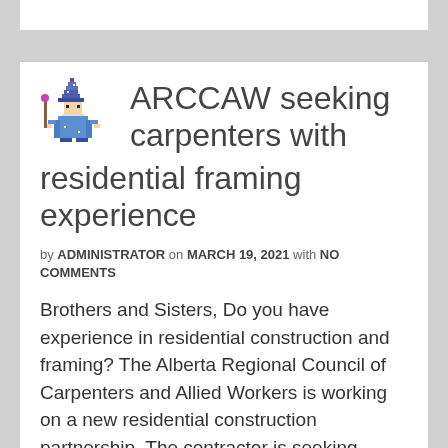[Figure (illustration): Pixel art wizard character in blue robe and hat with a staff]
ARCCAW seeking carpenters with residential framing experience
by ADMINISTRATOR on MARCH 19, 2021 with NO COMMENTS
Brothers and Sisters, Do you have experience in residential construction and framing? The Alberta Regional Council of Carpenters and Allied Workers is working on a new residential construction partnership. The contractor is seeking carpenters with experience in residential framing. The … Read More